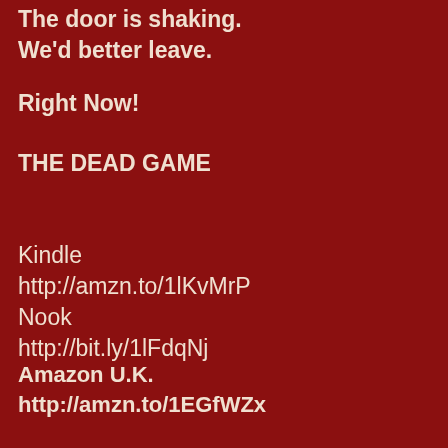The door is shaking.
We'd better leave.
Right Now!
THE DEAD GAME
Kindle
http://amzn.to/1lKvMrP
Nook
http://bit.ly/1lFdqNj
Amazon U.K.
http://amzn.to/1EGfWZx